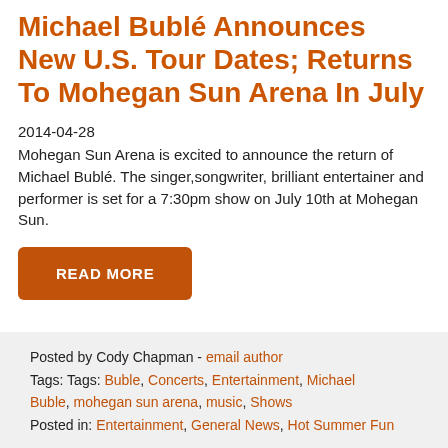Michael Bublé Announces New U.S. Tour Dates; Returns To Mohegan Sun Arena In July
2014-04-28
Mohegan Sun Arena is excited to announce the return of Michael Bublé. The singer,songwriter, brilliant entertainer and performer is set for a 7:30pm show on July 10th at Mohegan Sun.
READ MORE
Posted by Cody Chapman - email author Tags: Tags: Buble, Concerts, Entertainment, Michael Buble, mohegan sun arena, music, Shows Posted in: Entertainment, General News, Hot Summer Fun